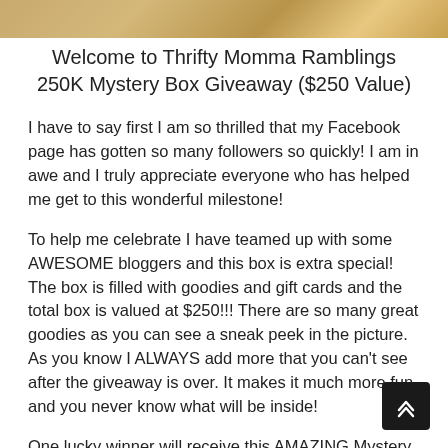[Figure (photo): Partial image strip at top of page showing blurred golden/yellow colored objects]
Welcome to Thrifty Momma Ramblings 250K Mystery Box Giveaway ($250 Value)
I have to say first I am so thrilled that my Facebook page has gotten so many followers so quickly! I am in awe and I truly appreciate everyone who has helped me get to this wonderful milestone!
To help me celebrate I have teamed up with some AWESOME bloggers and this box is extra special! The box is filled with goodies and gift cards and the total box is valued at $250!!! There are so many great goodies as you can see a sneak peek in the picture. As you know I ALWAYS add more that you can't see after the giveaway is over. It makes it much more fun and you never know what will be inside!
One lucky winner will receive this AMAZING Mystery